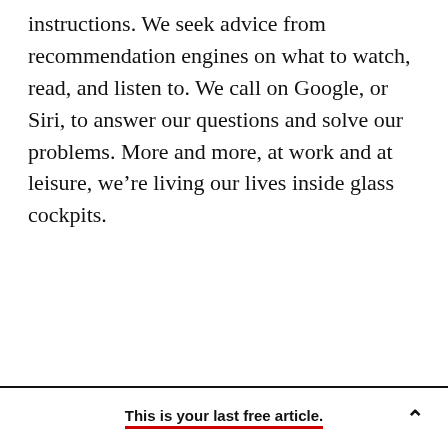instructions. We seek advice from recommendation engines on what to watch, read, and listen to. We call on Google, or Siri, to answer our questions and solve our problems. More and more, at work and at leisure, we're living our lives inside glass cockpits.
This is your last free article.